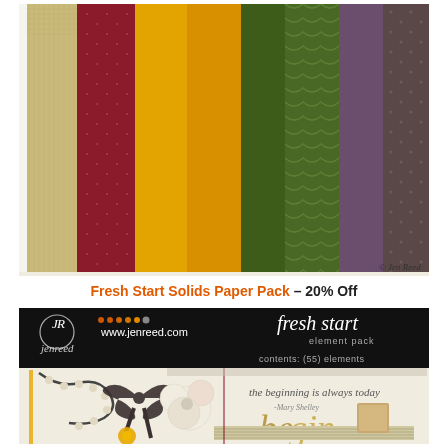[Figure (photo): Fan of scrapbooking paper sheets in various colors and textures (tan/burlap, crimson with dots, golden yellow, dark yellow, dark olive green, green with pattern, purple/mauve, dark brown with dots), copyright Jen Reed]
Fresh Start Solids Paper Pack – 20% Off
[Figure (photo): Fresh Start Element Pack product packaging showing jenreed.com branding, black header with logo, 'fresh start element pack', 'contents: (55) elements', and decorative elements including bows, flowers, ribbons with text 'The beginning is always today - Mary Shelley' and large text 'begin']